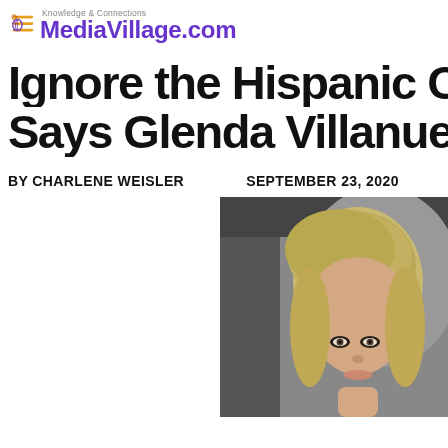Knowledge & Connections MediaVillage.com
Ignore the Hispanic Consu... Says Glenda Villanueva-M...
BY CHARLENE WEISLER    SEPTEMBER 23, 2020
[Figure (photo): Portrait photo of a blonde woman, appearing to be taken inside a car]